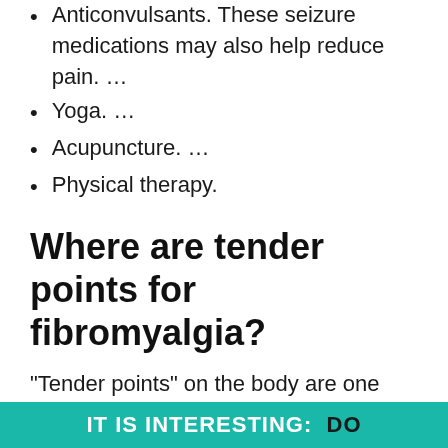Anticonvulsants. These seizure medications may also help reduce pain. …
Yoga. …
Acupuncture. …
Physical therapy.
Where are tender points for fibromyalgia?
“Tender points” on the body are one hallmark of fibromyalgia. When you press on these spots, they feel sore. Tender points can be located on the back of the head, elbows, shoulders, knees, and hips. There are 18 possible tender points in all.
IT IS INTERESTING:  Do